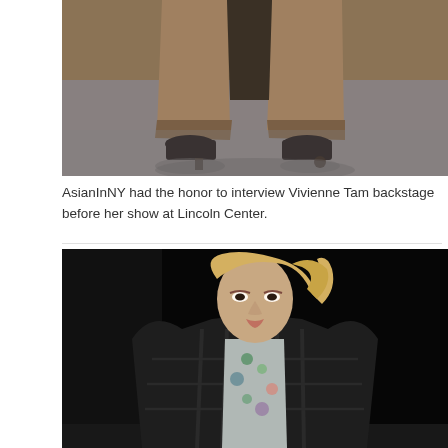[Figure (photo): Close-up fashion runway photo showing legs and feet of a model wearing wide-leg camel/tan trousers with cuffed hems and black heeled boots, walking on a grey runway surface with shadows visible]
AsianInNY had the honor to interview Vivienne Tam backstage before her show at Lincoln Center.
[Figure (photo): Fashion runway photo of a female model with windswept blonde hair wearing a dark plaid oversized blazer coat with structured shoulders over a floral print dress with a mesh/fishnet collar, against a black background]